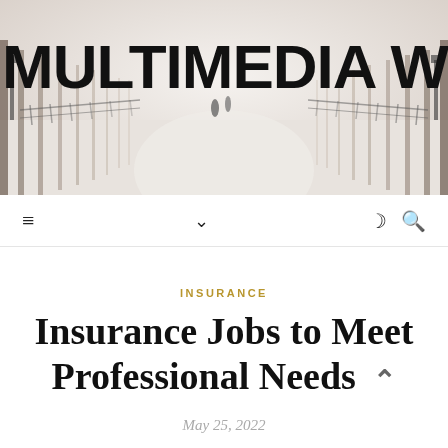[Figure (photo): Winter snowy park path lined with bare trees, two people walking in the distance, with 'MULTIMEDIA WORKS' text overlaid in large bold black letters at the top left]
≡   ∨   ☽ 🔍
INSURANCE
Insurance Jobs to Meet Professional Needs
May 25, 2022